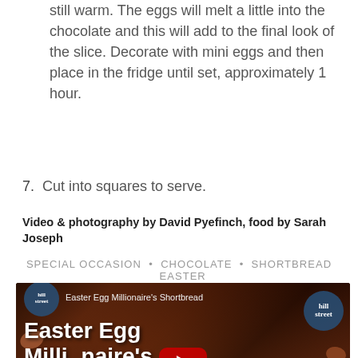still warm. The eggs will melt a little into the chocolate and this will add to the final look of the slice. Decorate with mini eggs and then place in the fridge until set, approximately 1 hour.
7. Cut into squares to serve.
Video & photography by David Pyefinch, food by Sarah Joseph
SPECIAL OCCASION · CHOCOLATE · SHORTBREAD EASTER
[Figure (screenshot): YouTube video thumbnail for 'Easter Egg Millionaire's Shortbread' from Hill Street, showing chocolate and Easter eggs with a red YouTube play button overlay. Text reads 'Easter Egg Millionaire's Shortbread' at top and large 'Easter Egg Millionaire's Shortbread' text overlay.]